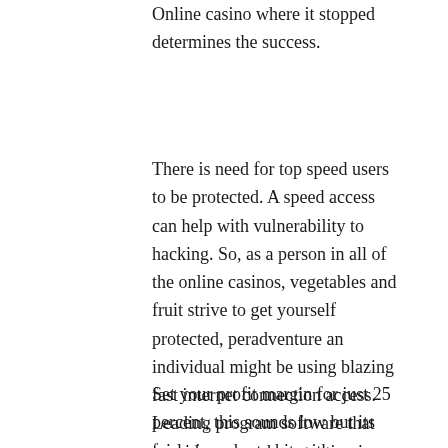Online casino where it stopped determines the success.
There is need for top speed users to be protected. A speed access can help with vulnerability to hacking. So, as a person in all of the online casinos, vegetables and fruit strive to get yourself protected, peradventure an individual might be using blazing fast internet connection access. Leading program software that provide you such protection is Zone Alarm.
Set your profit margin for just 25 percent, this sounds low but its fairly in order to hit with some patience. [????] is like riding a swing and knowing really should jump off at quite best